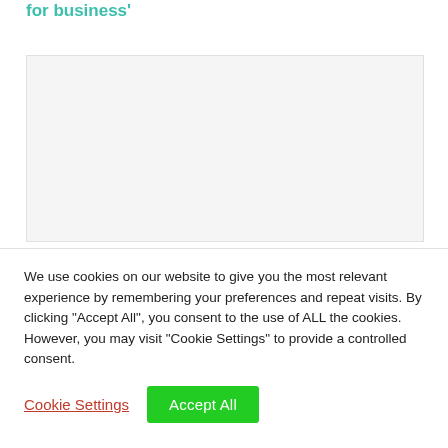for business'
[Figure (other): Light gray rectangular image placeholder area]
We use cookies on our website to give you the most relevant experience by remembering your preferences and repeat visits. By clicking "Accept All", you consent to the use of ALL the cookies. However, you may visit "Cookie Settings" to provide a controlled consent.
Cookie Settings | Accept All